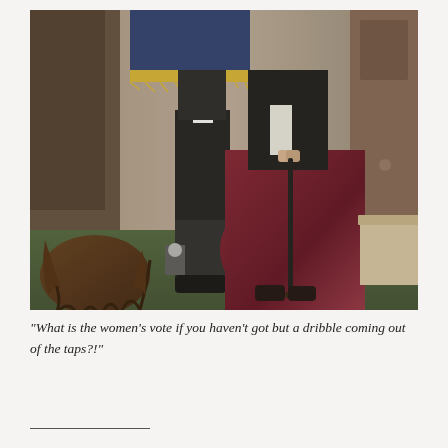[Figure (photo): A photograph showing two people standing in what appears to be a hall or council chamber. One person wears a dark suit, the other wears a dark top and a long dark red/maroon skirt and holds a walking cane. A child with long wavy hair is seen from behind in the foreground. Background shows wooden panelling, a blue banner with gold fringe, and chairs.]
"What is the women's vote if you haven't got but a dribble coming out of the taps?!"